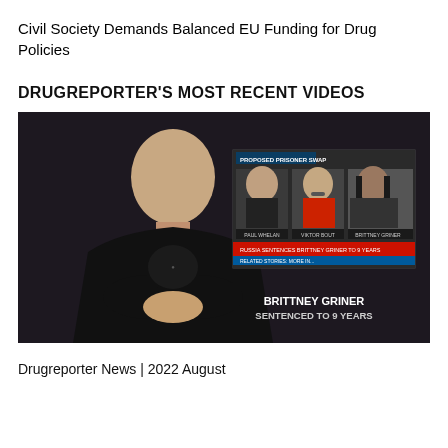Civil Society Demands Balanced EU Funding for Drug Policies
DRUGREPORTER'S MOST RECENT VIDEOS
[Figure (photo): Video thumbnail showing a man in a black t-shirt with clasped hands in front of a dark curtain background, with an inset news broadcast image showing three individuals labeled 'BRITTNEY GRINER SENTENCED TO 9 YEARS' and text 'PROPOSED PRISONER SWAP']
Drugreporter News | 2022 August